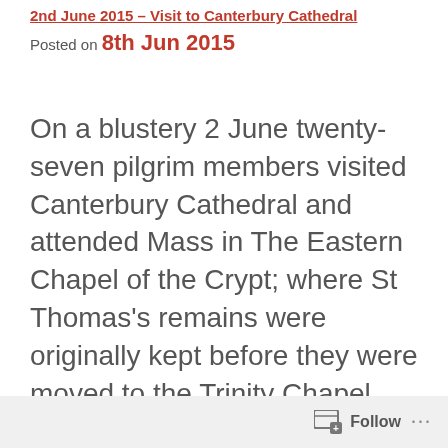2nd June 2015 – Visit to Canterbury Cathedral
Posted on 8th Jun 2015
On a blustery 2 June twenty-seven pilgrim members visited Canterbury Cathedral and attended Mass in The Eastern Chapel of the Crypt; where St Thomas's remains were originally kept before they were moved to the Trinity Chapel above in 1220 – eventually being destroyed by Henry VIII.
Follow ...